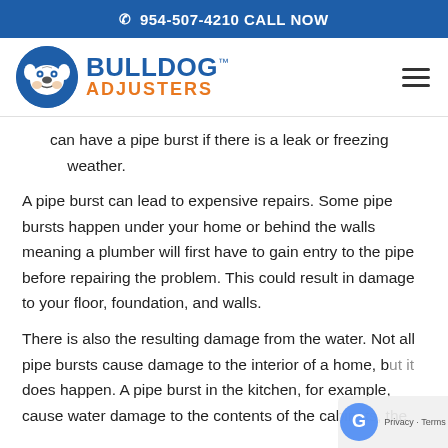📞 954-507-4210 CALL NOW
[Figure (logo): Bulldog Adjusters logo — blue circle with bulldog face, text BULLDOG™ in blue and ADJUSTERS in orange]
can have a pipe burst if there is a leak or freezing weather.
A pipe burst can lead to expensive repairs. Some pipe bursts happen under your home or behind the walls meaning a plumber will first have to gain entry to the pipe before repairing the problem. This could result in damage to your floor, foundation, and walls.
There is also the resulting damage from the water. Not all pipe bursts cause damage to the interior of a home, but it does happen. A pipe burst in the kitchen, for example, can cause water damage to the contents of the cabinets, the